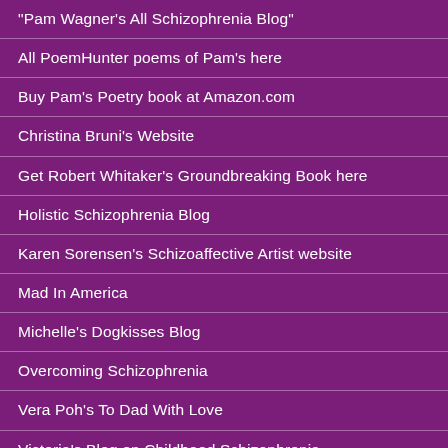"Pam Wagner's All Schizophrenia Blog"
All PoemHunter poems of Pam's here
Buy Pam's Poetry book at Amazon.com
Christina Bruni's Website
Get Robert Whitaker's Groundbreaking Book here
Holistic Schizophrenia Blog
Karen Sorensen's Schizoaffective Artist website
Mad In America
Michelle's Dogkisses Blog
Overcoming Schizophrenia
Vera Poh's To Dad With Love
Victoria's Blog on Childhood Schizophrenia